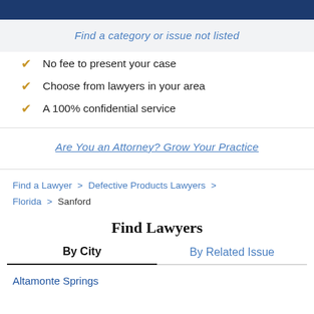Find a category or issue not listed
No fee to present your case
Choose from lawyers in your area
A 100% confidential service
Are You an Attorney? Grow Your Practice
Find a Lawyer > Defective Products Lawyers > Florida > Sanford
Find Lawyers
By City | By Related Issue
Altamonte Springs